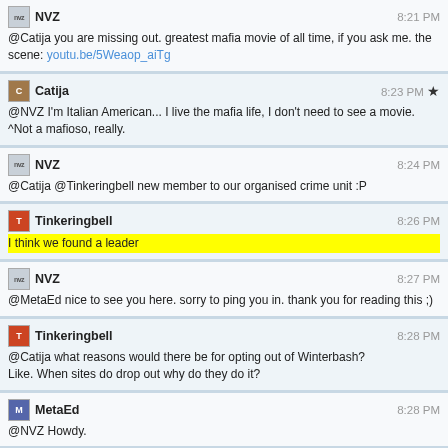NVZ 8:21 PM
@Catija you are missing out. greatest mafia movie of all time, if you ask me. the scene: youtu.be/5Weaop_aiTg
Catija 8:23 PM
@NVZ I'm Italian American... I live the mafia life, I don't need to see a movie.
^Not a mafioso, really.
NVZ 8:24 PM
@Catija @Tinkeringbell new member to our organised crime unit :P
Tinkeringbell 8:26 PM
I think we found a leader
NVZ 8:27 PM
@MetaEd nice to see you here. sorry to ping you in. thank you for reading this ;)
Tinkeringbell 8:28 PM
@Catija what reasons would there be for opting out of Winterbash?
Like. When sites do drop out why do they do it?
MetaEd 8:28 PM
@NVZ Howdy.
NVZ 8:28 PM
@MetaEd namaste.